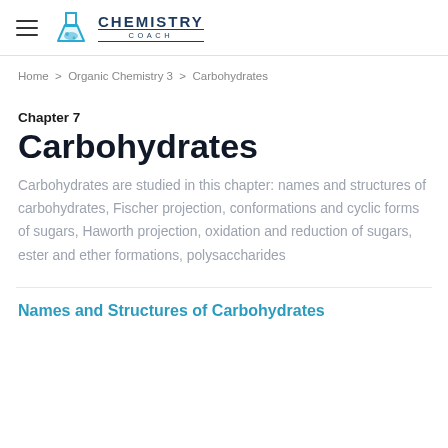CHEMISTRY COACH
Home > Organic Chemistry 3 > Carbohydrates
Chapter 7
Carbohydrates
Carbohydrates are studied in this chapter: names and structures of carbohydrates, Fischer projection, conformations and cyclic forms of sugars, Haworth projection, oxidation and reduction of sugars, ester and ether formations, polysaccharides
Names and Structures of Carbohydrates